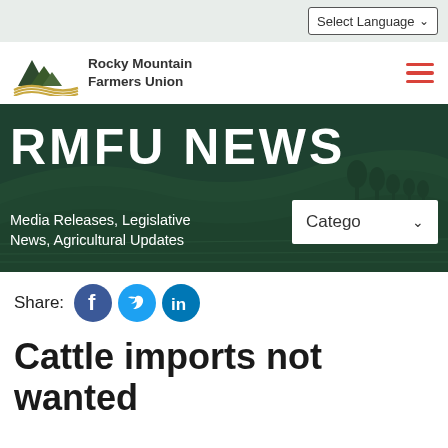Select Language
[Figure (logo): Rocky Mountain Farmers Union logo with mountain and wheat field graphic]
[Figure (infographic): RMFU NEWS banner with dark green farm field background, subtitle: Media Releases, Legislative News, Agricultural Updates, and a Category dropdown]
Share:
Cattle imports not wanted